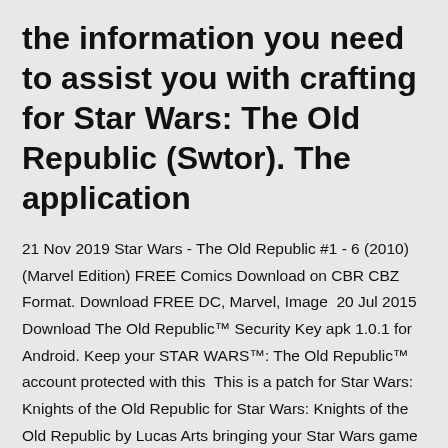the information you need to assist you with crafting for Star Wars: The Old Republic (Swtor). The application
21 Nov 2019 Star Wars - The Old Republic #1 - 6 (2010) (Marvel Edition) FREE Comics Download on CBR CBZ Format. Download FREE DC, Marvel, Image  20 Jul 2015 Download The Old Republic™ Security Key apk 1.0.1 for Android. Keep your STAR WARS™: The Old Republic™ account protected with this  This is a patch for Star Wars: Knights of the Old Republic for Star Wars: Knights of the Old Republic by Lucas Arts bringing your Star Wars game up to version 1.03. install. The installer will automatically search for the folder where you. 14 Apr 2019 Is Star Wars: The Old Republic ever coming to Mac? decide to give SWTOR a try, you can download the game's Free-to-play version